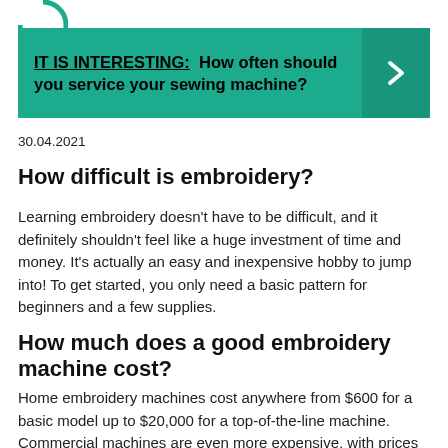[Figure (logo): Partial circular logo visible at top left]
IT IS INTERESTING:  How often should you service your sewing machine?
30.04.2021
How difficult is embroidery?
Learning embroidery doesn’t have to be difficult, and it definitely shouldn’t feel like a huge investment of time and money. It’s actually an easy and inexpensive hobby to jump into! To get started, you only need a basic pattern for beginners and a few supplies.
How much does a good embroidery machine cost?
Home embroidery machines cost anywhere from $600 for a basic model up to $20,000 for a top-of-the-line machine. Commercial machines are even more expensive, with prices